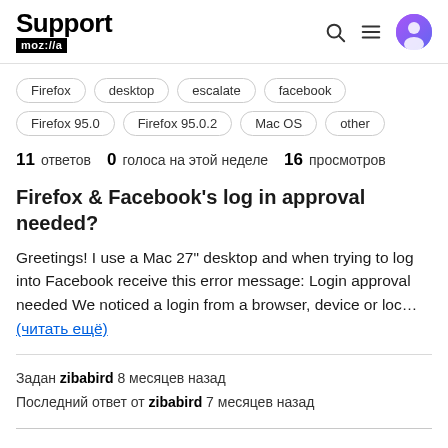Support moz://a
Firefox
desktop
escalate
facebook
Firefox 95.0
Firefox 95.0.2
Mac OS
other
11 ответов  0  голоса на этой неделе  16  просмотров
Firefox & Facebook's log in approval needed?
Greetings! I use a Mac 27" desktop and when trying to log into Facebook receive this error message: Login approval needed We noticed a login from a browser, device or loc…
(читать ещё)
Задан zibabird 8 месяцев назад
Последний ответ от zibabird 7 месяцев назад